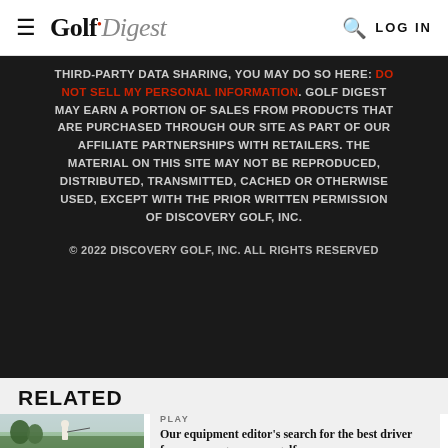Golf Digest — LOG IN
THIRD-PARTY DATA SHARING, YOU MAY DO SO HERE: DO NOT SELL MY PERSONAL INFORMATION. GOLF DIGEST MAY EARN A PORTION OF SALES FROM PRODUCTS THAT ARE PURCHASED THROUGH OUR SITE AS PART OF OUR AFFILIATE PARTNERSHIPS WITH RETAILERS. THE MATERIAL ON THIS SITE MAY NOT BE REPRODUCED, DISTRIBUTED, TRANSMITTED, CACHED OR OTHERWISE USED, EXCEPT WITH THE PRIOR WRITTEN PERMISSION OF DISCOVERY GOLF, INC.
© 2022 DISCOVERY GOLF, INC. ALL RIGHTS RESERVED
RELATED
PLAY
Our equipment editor's search for the best driver for an average woman golfer